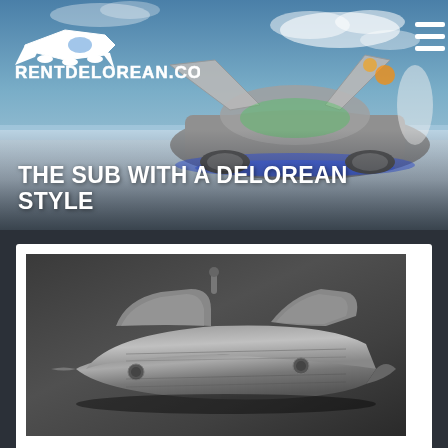[Figure (photo): Header banner image showing a DeLorean car with gull-wing doors open, parked on salt flats with blue LED underglow lighting, at dusk/dawn. Sky has clouds. RentDelorean.com logo overlaid top-left. Hamburger menu icon top-right.]
THE SUB WITH A DELOREAN STYLE
[Figure (photo): Dark gray/charcoal background with a submarine-shaped vehicle concept rendered in dark metallic tones, viewed from a slightly elevated angle. The shape resembles a streamlined DeLorean-inspired submarine.]